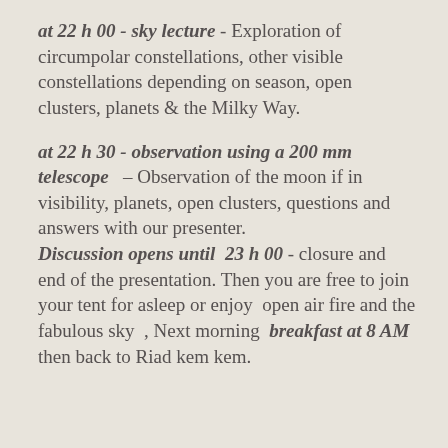at 22 h 00 - sky lecture - Exploration of circumpolar constellations, other visible constellations depending on season, open clusters, planets & the Milky Way.
at 22 h 30 - observation using a 200 mm telescope – Observation of the moon if in visibility, planets, open clusters, questions and answers with our presenter. Discussion opens until 23 h 00 - closure and end of the presentation. Then you are free to join your tent for asleep or enjoy open air fire and the fabulous sky , Next morning breakfast at 8 AM then back to Riad kem kem.